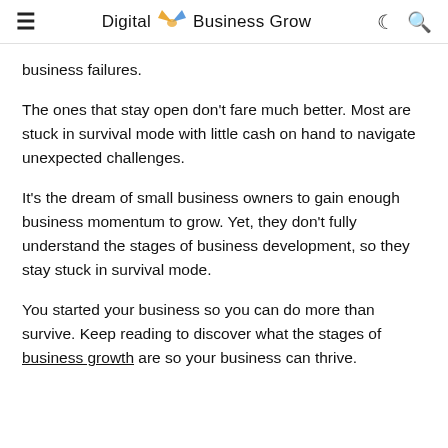≡   Digital Business Grow   ☾ 🔍
business failures.
The ones that stay open don't fare much better. Most are stuck in survival mode with little cash on hand to navigate unexpected challenges.
It's the dream of small business owners to gain enough business momentum to grow. Yet, they don't fully understand the stages of business development, so they stay stuck in survival mode.
You started your business so you can do more than survive. Keep reading to discover what the stages of business growth are so your business can thrive.